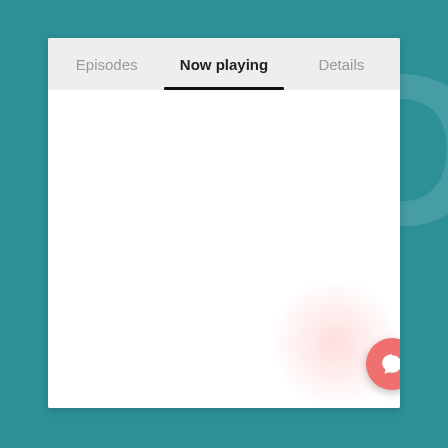[Figure (screenshot): Mobile app UI screenshot showing a tab navigation bar with three tabs: Episodes, Now playing (active/selected with underline), and Details. The content area below is empty/white. There is a pink radial glow in the bottom-right corner and a salmon-colored floating action button with a speech bubble icon in the lower right. The background behind the card is teal (#2d9098) with faint large watermark letters.]